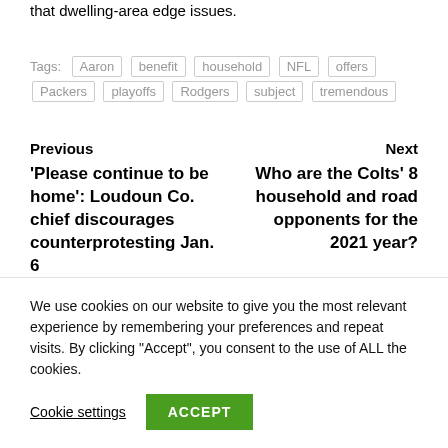that dwelling-area edge issues.
Tags: Aaron benefit household NFL offers Packers playoffs Rodgers subject tremendous
Previous
'Please continue to be home': Loudoun Co. chief discourages counterprotesting Jan. 6
Next
Who are the Colts' 8 household and road opponents for the 2021 year?
MORE STORIES
We use cookies on our website to give you the most relevant experience by remembering your preferences and repeat visits. By clicking "Accept", you consent to the use of ALL the cookies.
Cookie settings
ACCEPT